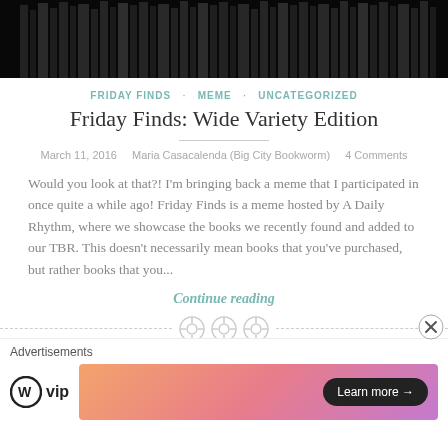[Figure (photo): Dark background image of books on shelves]
FRIDAY FINDS · MEME · UNCATEGORIZED
Friday Finds: Wide Variety Edition
March 11, 2016    Maria Casacalenda (Big City Bookworm)    4 Comments
Would you look at that?! I'm bringing back a meme that I participated in once quite a while ago! Friday Finds is a meme hosted by A Daily Rhythm, where we showcase the books we recently found and added to our TBR. This doesn't necessarily mean books that you've purchased, but rather books that you...
Continue reading
[Figure (photo): Dark image of coffee beans]
Advertisements
[Figure (logo): WordPress VIP logo and advertisement banner with Learn more button]